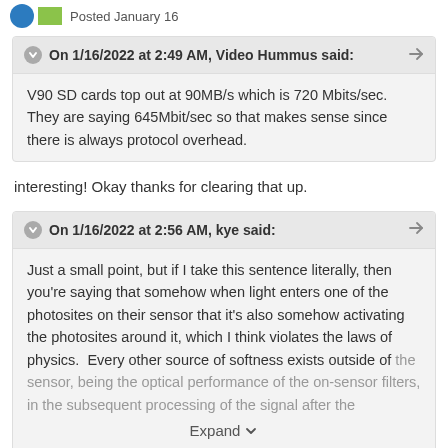Posted January 16
On 1/16/2022 at 2:49 AM, Video Hummus said:
V90 SD cards top out at 90MB/s which is 720 Mbits/sec. They are saying 645Mbit/sec so that makes sense since there is always protocol overhead.
interesting! Okay thanks for clearing that up.
On 1/16/2022 at 2:56 AM, kye said:
Just a small point, but if I take this sentence literally, then you're saying that somehow when light enters one of the photosites on their sensor that it's also somehow activating the photosites around it, which I think violates the laws of physics.  Every other source of softness exists outside of the sensor, being the optical performance of the on-sensor filters, in the subsequent processing of the signal after the
Expand